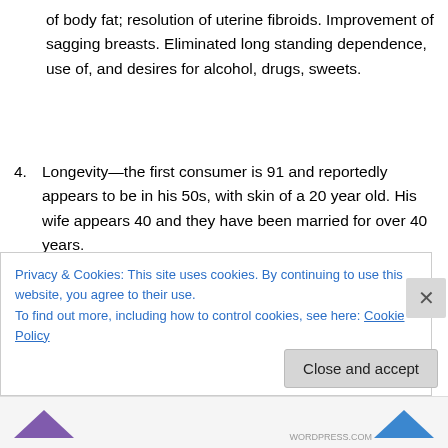of body fat; resolution of uterine fibroids. Improvement of sagging breasts. Eliminated long standing dependence, use of, and desires for alcohol, drugs, sweets.
4. Longevity—the first consumer is 91 and reportedly appears to be in his 50s, with skin of a 20 year old. His wife appears 40 and they have been married for over 40 years.
5. Skin: Most users report that their skin tightens up and becomes more elastic, wrinkles resolve, acne improves or resolves. Darkening of grey hair is
Privacy & Cookies: This site uses cookies. By continuing to use this website, you agree to their use.
To find out more, including how to control cookies, see here: Cookie Policy
Close and accept